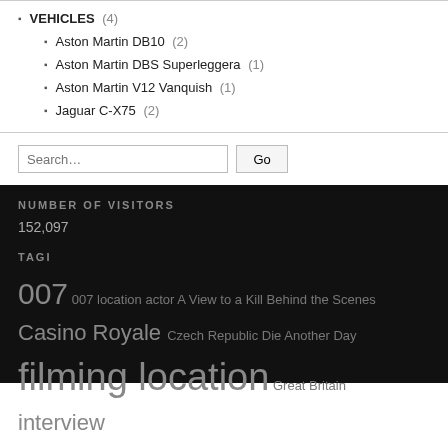VEHICLES (4)
Aston Martin DB10 (2)
Aston Martin DBS Superleggera (1)
Aston Martin V12 Vanquish (1)
Jaguar C-X75 (2)
NUMBER OF VISITORS
152,097
TAGI
007 007 location actor A View to a Kill Behind the Scenes Casino Royale Czech Republic Die Another Day filming location Great Britain interview James Bond